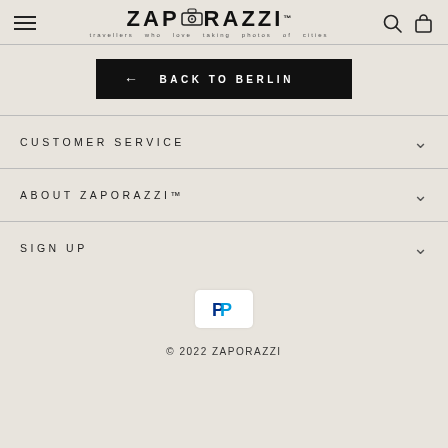[Figure (logo): Zaporazzi logo with camera icon and tagline 'travellers who love taking photos of cities']
← BACK TO BERLIN
CUSTOMER SERVICE
ABOUT ZAPORAZZI™
SIGN UP
[Figure (logo): PayPal payment icon button]
© 2022 ZAPORAZZI